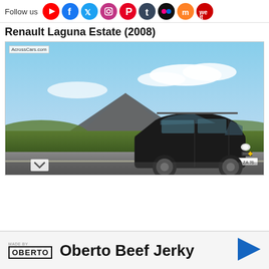Follow us [social icons: YouTube, Facebook, Twitter, Instagram, Pinterest, Tumblr, Flickr, Mix, WeIt]
Renault Laguna Estate (2008)
[Figure (photo): Photograph of a black Renault Laguna Estate (2008) driving on a road with a mountainous landscape and blue sky in the background. Watermark reads: AcrossCars.com. License plate visible: 326 ZA 76.]
Oberto Beef Jerky